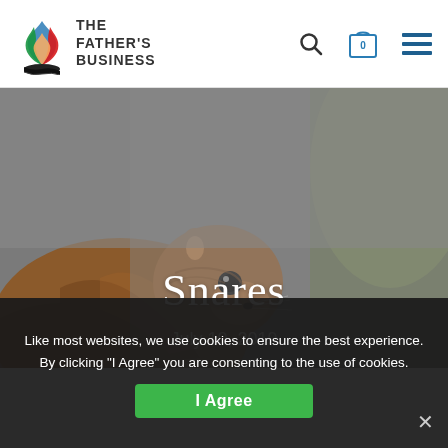[Figure (logo): The Father's Business logo with colorful flame/leaf icon and text]
THE FATHER'S BUSINESS — navigation header with search, cart (0), and menu icons
[Figure (photo): Close-up photo of a chipmunk/squirrel against a blurred grey and green background]
Snares
July 10, 2019
Like most websites, we use cookies to ensure the best experience. By clicking "I Agree" you are consenting to the use of cookies.
I Agree